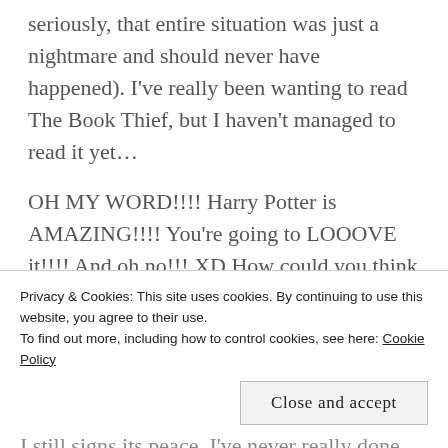seriously, that entire situation was just a nightmare and should never have happened). I've really been wanting to read The Book Thief, but I haven't managed to read it yet…
OH MY WORD!!!! Harry Potter is AMAZING!!!! You're going to LOOOVE it!!!! And oh no!!! XD How could you think Harry Potter is BORING???? XD I actually didn't read the books until...actually, I don't remember how old I was, but I saw the movies first, and THEN I read the books. Both are nice, and
Privacy & Cookies: This site uses cookies. By continuing to use this website, you agree to their use.
To find out more, including how to control cookies, see here: Cookie Policy
Close and accept
I still signs its peace. I've never really done